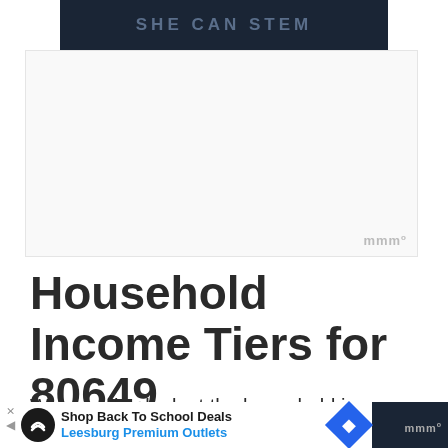[Figure (screenshot): SHE CAN STEM advertisement banner with dark navy background and gray text]
[Figure (screenshot): White advertisement area with moat logo watermark in lower right]
Household Income Tiers for 80649
We can also look at the household income tiers. This lets us see how...
[Figure (screenshot): Bottom advertisement bar: Shop Back To School Deals - Leesburg Premium Outlets with navigation arrow icon]